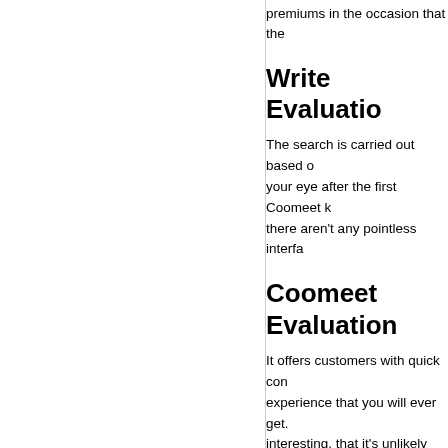premiums in the occasion that the
Write Evaluation
The search is carried out based on your eye after the first Coomeet k there aren’t any pointless interfa…
Coomeet Evaluation
It offers customers with quick con… experience that you will ever get. interesting, that it’s unlikely that y lockdown, this has been an insan… tons of enjoyable video chatting w girls so much in right here. Online doubtless certainly one of the we… chat websites.
Secondly, the chance is obtainab… affairs. For example, if there is no… to put “skip and never discover”